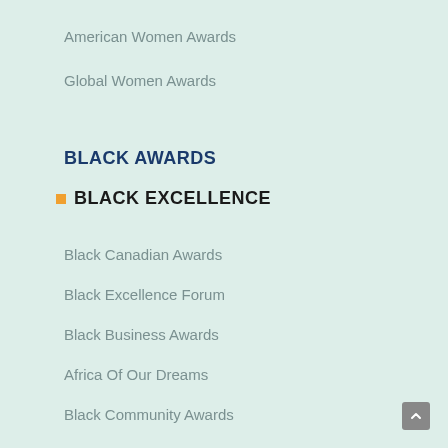American Women Awards
Global Women Awards
BLACK AWARDS
BLACK EXCELLENCE
Black Canadian Awards
Black Excellence Forum
Black Business Awards
Africa Of Our Dreams
Black Community Awards
Black American Awards
Black British Awards